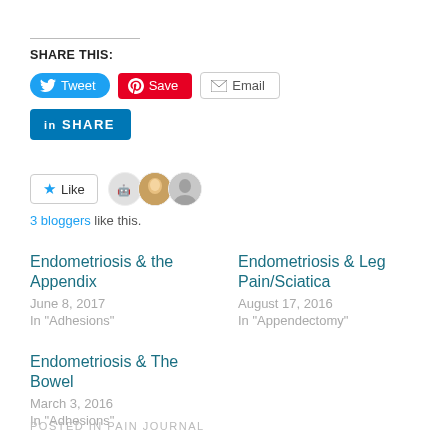SHARE THIS:
[Figure (screenshot): Social share buttons: Tweet (Twitter, blue pill), Save (Pinterest, red), Email (grey outline), and LinkedIn SHARE button (blue)]
[Figure (screenshot): Like button with star icon, followed by 3 blogger avatars]
3 bloggers like this.
Endometriosis & the Appendix
June 8, 2017
In "Adhesions"
Endometriosis & Leg Pain/Sciatica
August 17, 2016
In "Appendectomy"
Endometriosis & The Bowel
March 3, 2016
In "Adhesions"
POSTED IN PAIN JOURNAL